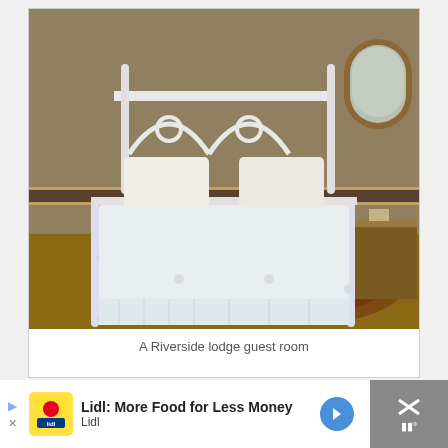[Figure (photo): A bedroom with a white ornate iron bed frame with heart-shaped decorative ironwork on the footboard and headboard. The bed has white linens and a white bedskirt. On the right side is a wooden dresser with a mirror on the wall above it, framed with an arched wooden frame. The wallpaper has a decorative border pattern. A patterned rug is on the floor.]
A Riverside lodge guest room
[Figure (other): Advertisement banner: Lidl: More Food for Less Money - Lidl]